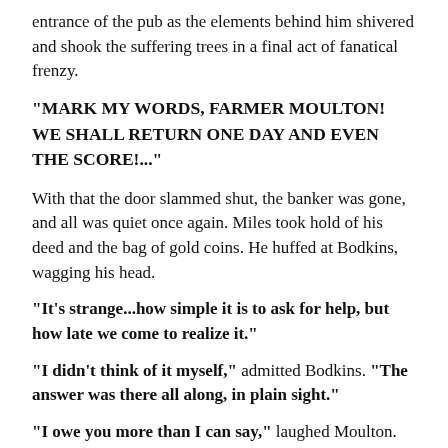entrance of the pub as the elements behind him shivered and shook the suffering trees in a final act of fanatical frenzy.
"MARK MY WORDS, FARMER MOULTON! WE SHALL RETURN ONE DAY AND EVEN THE SCORE!..."
With that the door slammed shut, the banker was gone, and all was quiet once again. Miles took hold of his deed and the bag of gold coins. He huffed at Bodkins, wagging his head.
"It's strange...how simple it is to ask for help, but how late we come to realize it."
"I didn't think of it myself," admitted Bodkins. "The answer was there all along, in plain sight."
"I owe you more than I can say," laughed Moulton. "Is there anything I can do for you before I go?"